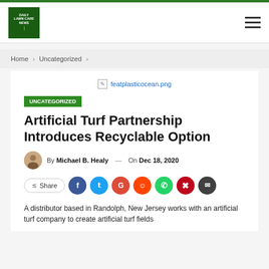[Figure (logo): Daily Lawn Care News logo — dark green box with white text and grass silhouette]
Home › Uncategorized ›
[Figure (photo): featplasticocean.png — broken image placeholder with filename shown]
UNCATEGORIZED
Artificial Turf Partnership Introduces Recyclable Option
By Michael B. Healy — On Dec 18, 2020
Share
A distributor based in Randolph, New Jersey works with an artificial turf company to create artificial turf fields